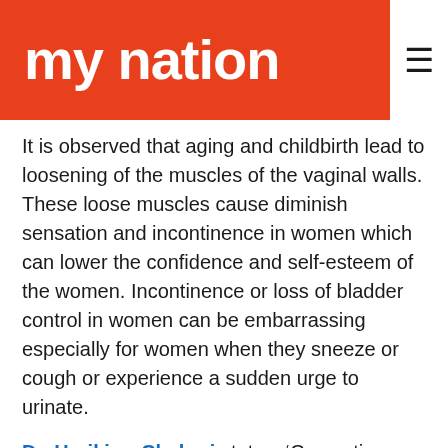[Figure (logo): My Nation logo — white lowercase text on orange/red background]
It is observed that aging and childbirth lead to loosening of the muscles of the vaginal walls. These loose muscles cause diminish sensation and incontinence in women which can lower the confidence and self-esteem of the women. Incontinence or loss of bladder control in women can be embarrassing especially for women when they sneeze or cough or experience a sudden urge to urinate.
Dr. HarikiranChekuri states, ‘Cosmetic gynecology helps in enhancing the aesthetic appearance of the vulva/vaginal region and even restores the sexual function of the women. Also, this not only gives a boost to her sexuality but also her self-confidence. Hence, I advocate that womenof suitable ages should seek their preferred cosmetic gynecology procedures to live better and happily.’
The cosmetic procedures available at the Redefine Hair Transplant and Plastic Surgery Center in Hyderabad are vaginal rejuvenation (non-surgical)monsplasty, vaginal rejuvenation